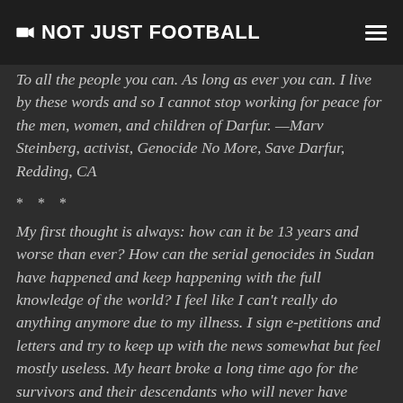NOT JUST FOOTBALL
To all the people you can. As long as ever you can. I live by these words and so I cannot stop working for peace for the men, women, and children of Darfur. —Marv Steinberg, activist, Genocide No More, Save Darfur, Redding, CA
* * *
My first thought is always: how can it be 13 years and worse than ever? How can the serial genocides in Sudan have happened and keep happening with the full knowledge of the world? I feel like I can't really do anything anymore due to my illness. I sign e-petitions and letters and try to keep up with the news somewhat but feel mostly useless. My heart broke a long time ago for the survivors and their descendants who will never have anything close to a life and continue to bear the scars—all types—for generations into the future. —Martina Knee, activist, San